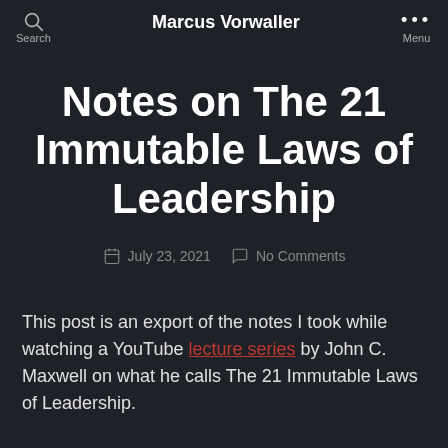Marcus Vorwaller
Notes on The 21 Immutable Laws of Leadership
July 23, 2021   No Comments
This post is an export of the notes I took while watching a YouTube lecture series by John C. Maxwell on what he calls The 21 Immutable Laws of Leadership.